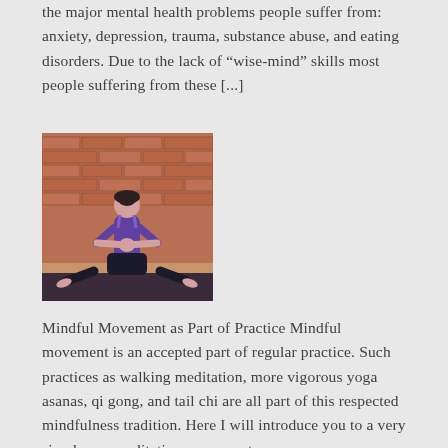the major mental health problems people suffer from: anxiety, depression, trauma, substance abuse, and eating disorders. Due to the lack of "wise-mind" skills most people suffering from these [...]
[Figure (photo): A woman in a wide-legged yoga squat pose (goddess pose) wearing a purple tank top and black pants, hands in prayer position, in front of a red brick wall in a yoga studio.]
Mindful Movement as Part of Practice Mindful movement is an accepted part of regular practice. Such practices as walking meditation, more vigorous yoga asanas, qi gong, and tail chi are all part of this respected mindfulness tradition. Here I will introduce you to a very simple pre-meditation movement